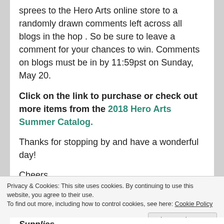sprees to the Hero Arts online store to a randomly drawn comments left across all blogs in the hop . So be sure to leave a comment for your chances to win. Comments on blogs must be in by 11:59pst on Sunday, May 20.
Click on the link to purchase or check out more items from the 2018 Hero Arts Summer Catalog.
Thanks for stopping by and have a wonderful day!
Cheers,
[Figure (illustration): Handwritten cursive signature partially visible]
Privacy & Cookies: This site uses cookies. By continuing to use this website, you agree to their use.
To find out more, including how to control cookies, see here: Cookie Policy
Close and accept
Supplies